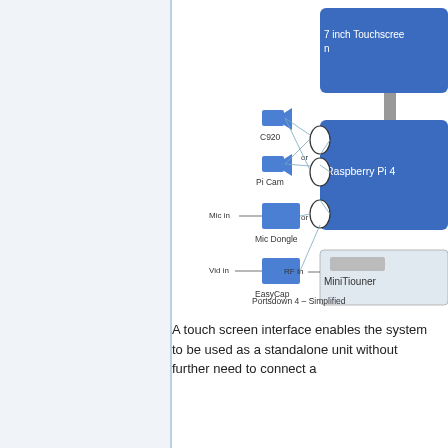[Figure (schematic): Portsdown 4 Simplified block diagram showing: 7 inch Touchscreen connected to Raspberry Pi 4; C920 camera and Pi Cam connected via 'or' circles to Raspberry Pi 4; Mic Dongle connected via 'or' circle to Raspberry Pi 4; EasyCap connected to Raspberry Pi 4; MiniTiouner with RF In connected to Raspberry Pi 4. Caption: Portsdown 4 – Simplified]
A touch screen interface enables the system to be used as a standalone unit without further need to connect a ...